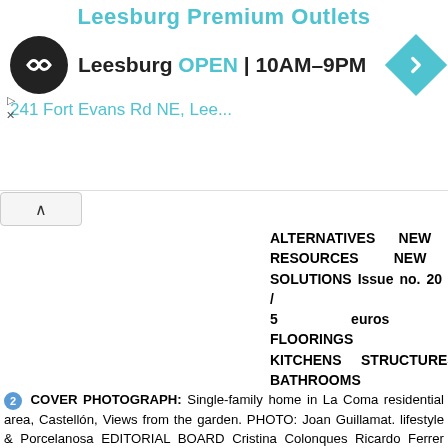[Figure (screenshot): Advertisement banner for Leesburg Premium Outlets showing logo, open hours 10AM-9PM, address 241 Fort Evans Rd NE, and navigation controls]
ALTERNATIVES NEW RESOURCES NEW SOLUTIONS Issue no. 20 / 5 euros FLOORINGS KITCHENS STRUCTURES BATHROOMS
2 COVER PHOTOGRAPH: Single-family home in La Coma residential area, Castellón, Views from the garden. PHOTO: Joan Guillamat. lifestyle & Porcelanosa EDITORIAL BOARD Cristina Colonques Ricardo Ferrer Francisco Peris Félix Balado PUBLISHER Ediciones Condé Nast S.A. MANAGING EDITOR Sandra del Río ART & DESIGN DIRECTOR Vital R. García TRANSLATORS Paloma Gil (English) Geneviève Naud (French) Lionbridge (Russian/Chinese/Thai) COPY EDITOR Monique Fuller (English) COORDINATION Marta Sahelices (Regional Coordinator) Andrea María (Print Edition) Sabrina